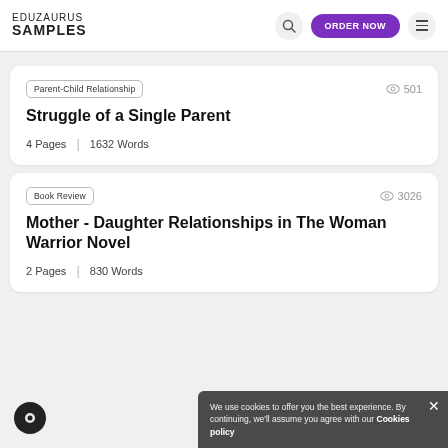EDUZAURUS SAMPLES
Parent-Child Relationship | 501 views
Struggle of a Single Parent
4 Pages | 1632 Words
Book Review | 3026 views
Mother - Daughter Relationships in The Woman Warrior Novel
2 Pages | 830 Words
We use cookies to offer you the best experience. By continuing, we'll assume you agree with our Cookies policy